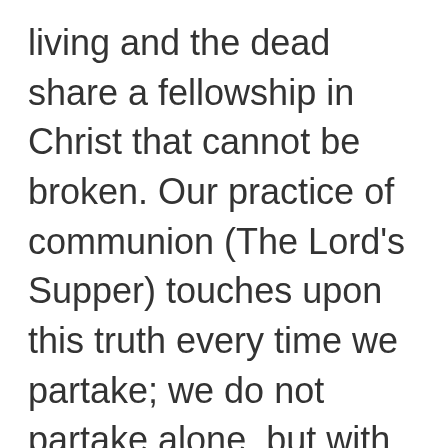living and the dead share a fellowship in Christ that cannot be broken. Our practice of communion (The Lord's Supper) touches upon this truth every time we partake; we do not partake alone, but with all the saints present, past, and future. At the table, every time we eat this bread and drink this cup, we do it with all the saints -- including those